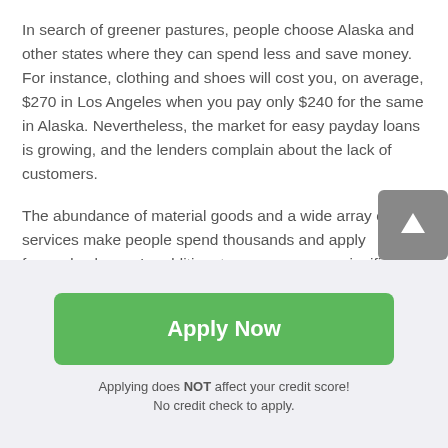In search of greener pastures, people choose Alaska and other states where they can spend less and save money. For instance, clothing and shoes will cost you, on average, $270 in Los Angeles when you pay only $240 for the same in Alaska. Nevertheless, the market for easy payday loans is growing, and the lenders complain about the lack of customers.
The abundance of material goods and a wide array of services make people spend thousands and apply forpayday loans. In addition, taxes consume a significant part of income; for example, Alaska is considered to have the highest real-estate property taxes among states.
[Figure (other): Green 'Apply Now' button with text 'Applying does NOT affect your credit score! No credit check to apply.' below it, on a light grey background.]